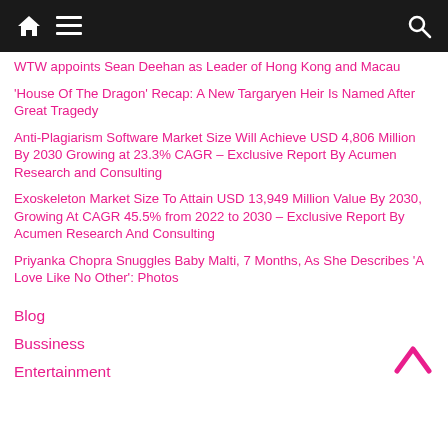Navigation bar with home, menu, and search icons
WTW appoints Sean Deehan as Leader of Hong Kong and Macau
‘House Of The Dragon’ Recap: A New Targaryen Heir Is Named After Great Tragedy
Anti-Plagiarism Software Market Size Will Achieve USD 4,806 Million By 2030 Growing at 23.3% CAGR – Exclusive Report By Acumen Research and Consulting
Exoskeleton Market Size To Attain USD 13,949 Million Value By 2030, Growing At CAGR 45.5% from 2022 to 2030 – Exclusive Report By Acumen Research And Consulting
Priyanka Chopra Snuggles Baby Malti, 7 Months, As She Describes ‘A Love Like No Other’: Photos
Blog
Bussiness
Entertainment